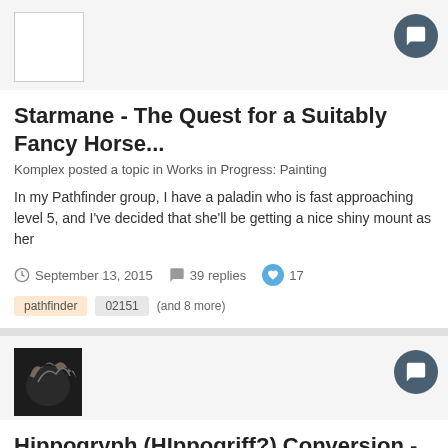[Figure (photo): White/blank avatar placeholder square]
Starmane - The Quest for a Suitably Fancy Horse...
Komplex posted a topic in Works in Progress: Painting
In my Pathfinder group, I have a paladin who is fast approaching level 5, and I've decided that she'll be getting a nice shiny mount as her
September 13, 2015   39 replies   17   pathfinder   02151   (and 8 more)
[Figure (photo): Dark profile avatar with a stylized wing/feather image]
Hippogryph (HIppogriff?) Conversion - pic heavy
BLZeebub posted a topic in Works in Progress: Painting
So here he is so far. He's being made for my daughter, so his name